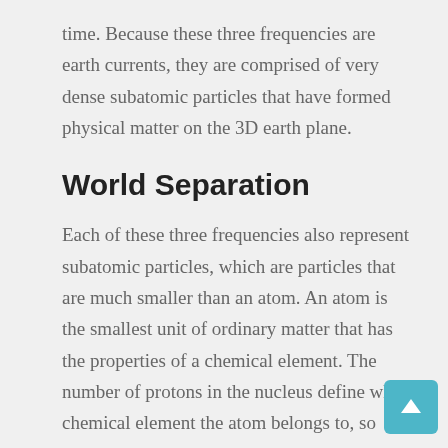time. Because these three frequencies are earth currents, they are comprised of very dense subatomic particles that have formed physical matter on the 3D earth plane.
World Separation
Each of these three frequencies also represent subatomic particles, which are particles that are much smaller than an atom. An atom is the smallest unit of ordinary matter that has the properties of a chemical element. The number of protons in the nucleus define what chemical element the atom belongs to, so when protons are added, it completely changes the atomic structure. Subatomic properties of the atom are broken down into